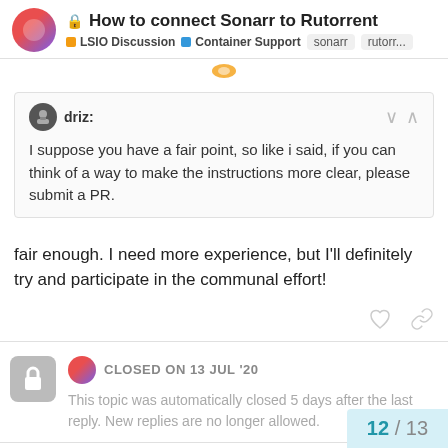How to connect Sonarr to Rutorrent | LSIO Discussion | Container Support | sonarr | rutorr...
driz:
I suppose you have a fair point, so like i said, if you can think of a way to make the instructions more clear, please submit a PR.
fair enough. I need more experience, but I'll definitely try and participate in the communal effort!
CLOSED ON 13 JUL '20
This topic was automatically closed 5 days after the last reply. New replies are no longer allowed.
12 / 13